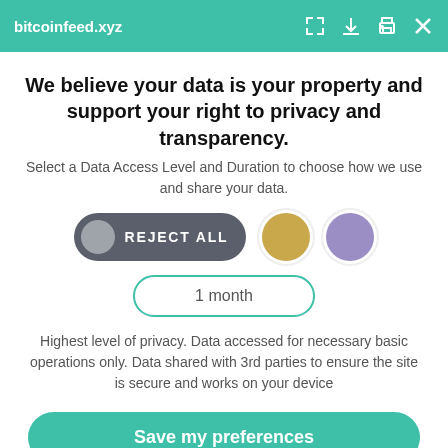bitcoinfeed.xyz
We believe your data is your property and support your right to privacy and transparency.
Select a Data Access Level and Duration to choose how we use and share your data.
[Figure (infographic): Three consent level options: 'REJECT ALL' dark pill button with grey circle, gold circle option, purple circle option]
1 month
Highest level of privacy. Data accessed for necessary basic operations only. Data shared with 3rd parties to ensure the site is secure and works on your device
Save my preferences
Customize
Privacy policy